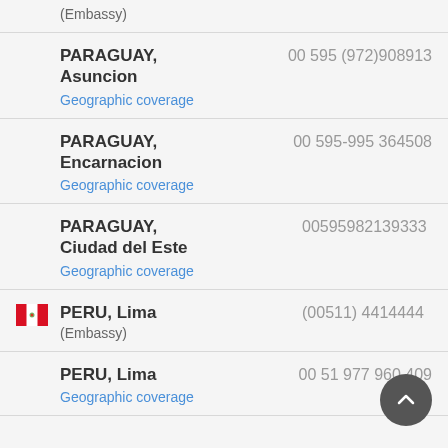(Embassy)
PARAGUAY, Asuncion | 00 595 (972)908913 | Geographic coverage
PARAGUAY, Encarnacion | 00 595-995 364508 | Geographic coverage
PARAGUAY, Ciudad del Este | 00595982139333 | Geographic coverage
PERU, Lima (Embassy) | (00511) 4414444
PERU, Lima | 00 51 977 960 409 | Geographic coverage